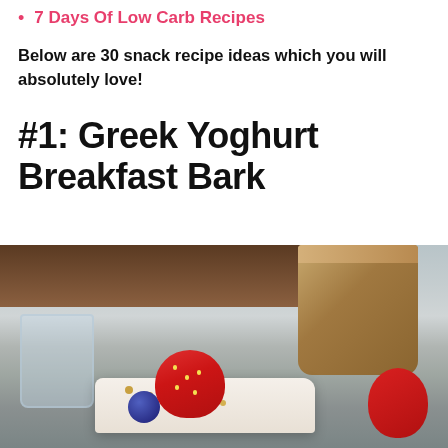7 Days Of Low Carb Recipes
Below are 30 snack recipe ideas which you will absolutely love!
#1: Greek Yoghurt Breakfast Bark
[Figure (photo): Photo of Greek Yoghurt Breakfast Bark with strawberries, blueberries, and granola on a plate, with a coffee cup in the background]